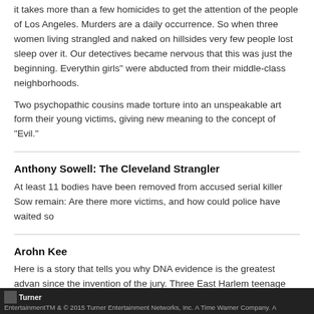it takes more than a few homicides to get the attention of the people of Los Angeles. Murders are a daily occurrence. So when three women living strangled and naked on hillsides very few people lost sleep over it. Our detectives became nervous that this was just the beginning. Everything girls" were abducted from their middle-class neighborhoods.
Two psychopathic cousins made torture into an unspeakable art form... their young victims, giving new meaning to the concept of "Evil."
Anthony Sowell: The Cleveland Strangler
At least 11 bodies have been removed from accused serial killer Sowell's remain: Are there more victims, and how could police have waited so...
Arohn Kee
Here is a story that tells you why DNA evidence is the greatest advan... since the invention of the jury. Three East Harlem teenage girls' murd... NYPD detectives. The killer moves their bodies from the crime scenes... shopping cart. After many years, a comparison of DNA taken from so...
Turner EntertainmentTM & © 2015 Turner Entertainment Networks, Inc. A Time Warner Company. A...